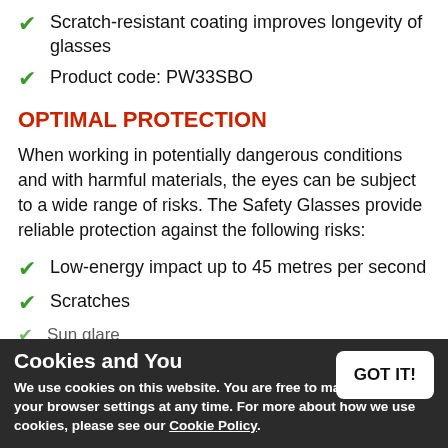Scratch-resistant coating improves longevity of glasses
Product code: PW33SBO
OPTIMAL PROTECTION
When working in potentially dangerous conditions and with harmful materials, the eyes can be subject to a wide range of risks. The Safety Glasses provide reliable protection against the following risks:
Low-energy impact up to 45 metres per second
Scratches
Sun glare
COMFORTABLE DESIGN
When wearing safety glasses all day, it is important to ensure they can remain as comfortable as possible so as
Cookies and You
We use cookies on this website. You are free to manage these via your browser settings at any time. For more about how we use cookies, please see our Cookie Policy.